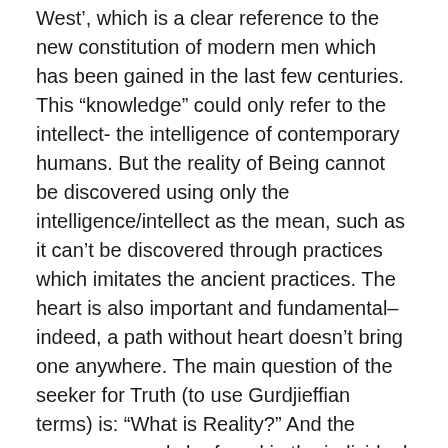West’, which is a clear reference to the new constitution of modern men which has been gained in the last few centuries. This “knowledge” could only refer to the intellect- the intelligence of contemporary humans. But the reality of Being cannot be discovered using only the intelligence/intellect as the mean, such as it can’t be discovered through practices which imitates the ancient practices. The heart is also important and fundamental–indeed, a path without heart doesn’t bring one anywhere. The main question of the seeker for Truth (to use Gurdjieffian terms) is: “What is Reality?” And the answer can only be found in the individual seeking those who have found the proper way to join their personal East and West. Just to make an esoteric comparison with the Gospel story: the Wise Men (the Magi) followed a star which came from the East, and now the caravan presented the East...